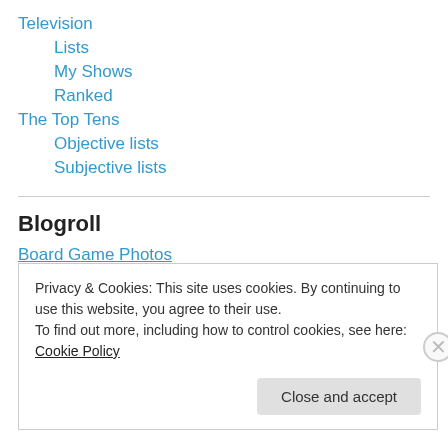Television
Lists
My Shows
Ranked
The Top Tens
Objective lists
Subjective lists
Blogroll
Board Game Photos
Board Musings
Privacy & Cookies: This site uses cookies. By continuing to use this website, you agree to their use.
To find out more, including how to control cookies, see here: Cookie Policy
Close and accept